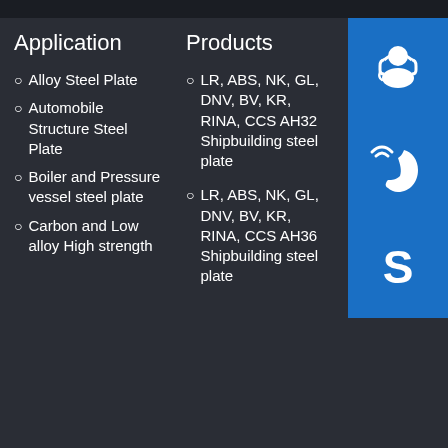Application
Alloy Steel Plate
Automobile Structure Steel Plate
Boiler and Pressure vessel steel plate
Carbon and Low alloy High strength
Products
LR, ABS, NK, GL, DNV, BV, KR, RINA, CCS AH32 Shipbuilding steel plate
LR, ABS, NK, GL, DNV, BV, KR, RINA, CCS AH36 Shipbuilding steel plate
Contact US
Henan Mott Steel Co., Ltd
steelsapr@outl
0086-371-86 1827
Development Zone, Zhengzhou, China
[Figure (illustration): Customer support icon - person with headset]
[Figure (illustration): Phone/call icon]
[Figure (illustration): Skype icon]